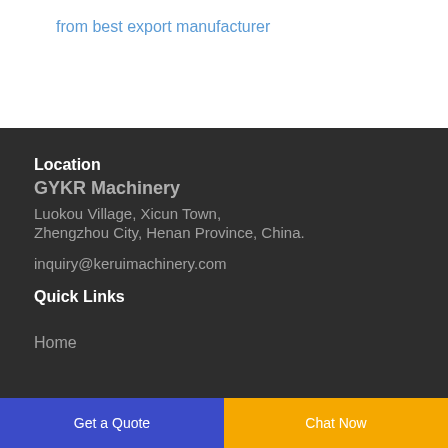from best export manufacturer
Location
GYKR Machinery
Luokou Village, Xicun Town,
Zhengzhou City, Henan Province, China.
inquiry@keruimachinery.com
Quick Links
Home
Get a Quote  Chat Now